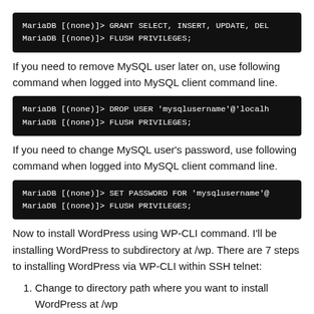[Figure (screenshot): Terminal code block showing: MariaDB [(none)]> GRANT SELECT, INSERT, UPDATE, DEL and MariaDB [(none)]> FLUSH PRIVILEGES;]
If you need to remove MySQL user later on, use following command when logged into MySQL client command line.
[Figure (screenshot): Terminal code block showing: MariaDB [(none)]> DROP USER 'mysqlusername'@'localh and MariaDB [(none)]> FLUSH PRIVILEGES;]
If you need to change MySQL user's password, use following command when logged into MySQL client command line.
[Figure (screenshot): Terminal code block showing: MariaDB [(none)]> SET PASSWORD FOR 'mysqlusername'@ and MariaDB [(none)]> FLUSH PRIVILEGES;]
Now to install WordPress using WP-CLI command. I'll be installing WordPress to subdirectory at /wp. There are 7 steps to installing WordPress via WP-CLI within SSH telnet:
Change to directory path where you want to install WordPress at /wp
Run wp core download command to download latest